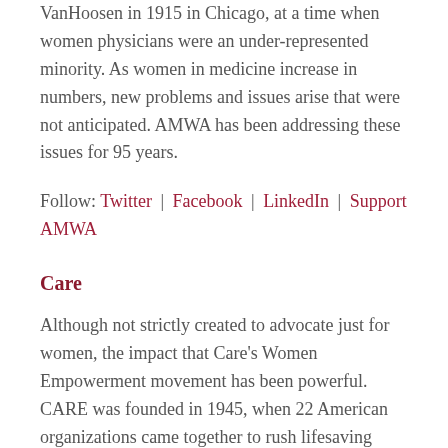VanHoosen in 1915 in Chicago, at a time when women physicians were an under-represented minority. As women in medicine increase in numbers, new problems and issues arise that were not anticipated. AMWA has been addressing these issues for 95 years.
Follow: Twitter | Facebook | LinkedIn | Support AMWA
Care
Although not strictly created to advocate just for women, the impact that Care's Women Empowerment movement has been powerful. CARE was founded in 1945, when 22 American organizations came together to rush lifesaving CARE Packages to survivors of World War II. Thousands of Americans, including President Harry S. Truman, contributed